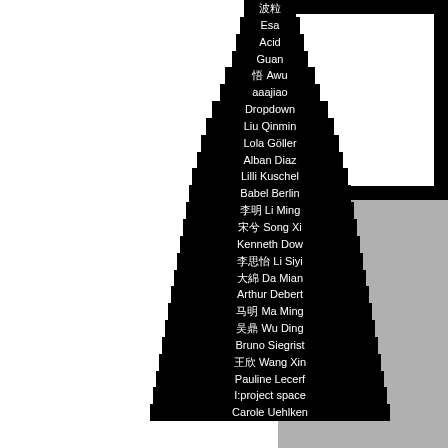[Figure (illustration): A tower/pyramid-shaped illustration made of stacked black blocks, each containing a name (Chinese and/or Western). Names listed from top to bottom: 波粒, Esa, Acid, Guan, 悟 Awu, aaajiao, Dropdown, Liu Qinmin, Lola Göller, Alban Diaz, Lilli Kuschel, Babel Berlin, 李明 Li Ming, 宋兮 Song Xi, Kenneth Dow, 李思怡 Li Siyi, 大綿 Da Mian, Arthur Debert, 马明 Ma Ming, 吴鼎 Wu Ding, Bruno Siegrist, 王欣 Wang Xin, Pauline Lecerf, I:project space, Carole Uehlken (partially visible). To the right is a grey panel with a black-bordered white rectangle at the top.]